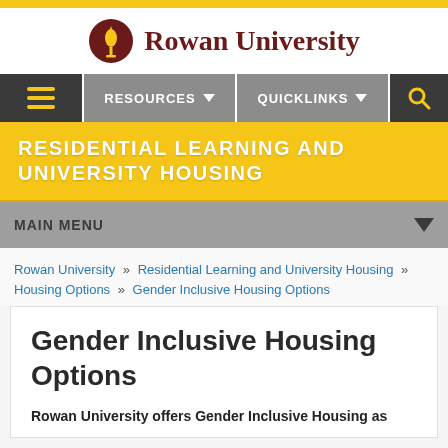[Figure (logo): Rowan University logo with torch icon and university name in dark red serif font]
[Figure (screenshot): Navigation bar with hamburger menu, Resources dropdown, Quicklinks dropdown, and search icon]
RESIDENTIAL LEARNING AND UNIVERSITY HOUSING
MAIN MENU
Rowan University » Residential Learning and University Housing » Housing Options » Gender Inclusive Housing Options
Gender Inclusive Housing Options
Rowan University offers Gender Inclusive Housing as